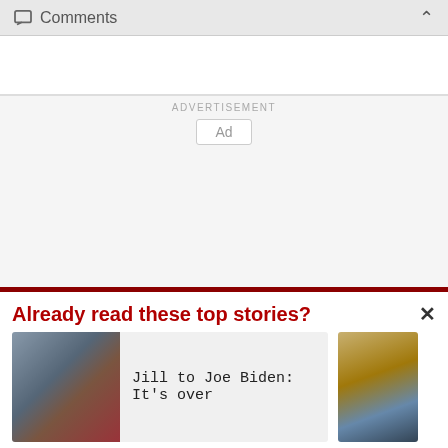Comments
[Figure (other): Advertisement placeholder box with 'Ad' label]
Already read these top stories?
[Figure (photo): Photo of Jill and Joe Biden]
Jill to Joe Biden: It's over
[Figure (photo): Partial photo of a rocky cliff/landscape]